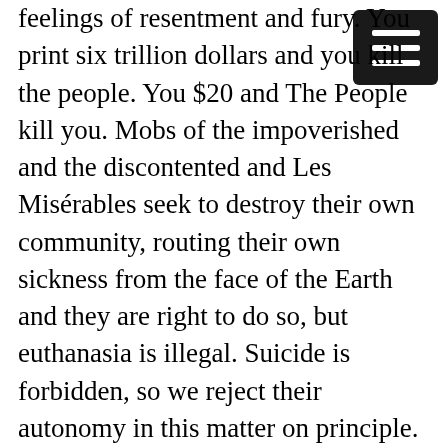feelings of resentment and fury. You print six trillion dollars and you kill the people. You $20 and The People kill you. Mobs of the impoverished and the discontented and Les Misérables seek to destroy their own community, routing their own sickness from the face of the Earth and they are right to do so, but euthanasia is illegal. Suicide is forbidden, so we reject their autonomy in this matter on principle. You will sit in the ghetto, and you will like it!
I think education is the answer. I would say religion is the answer, but these motherfuckers burned down a church, so we need to adapt. Education, education, education. Huge ivory